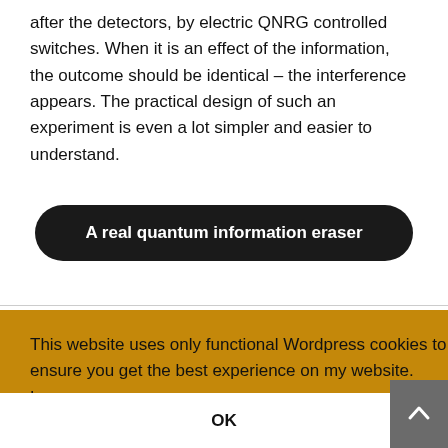after the detectors, by electric QNRG controlled switches. When it is an effect of the information, the outcome should be identical – the interference appears. The practical design of such an experiment is even a lot simpler and easier to understand.
A real quantum information eraser
This website uses only functional Wordpress cookies to ensure you get the best experience on my website. Learn more
OK